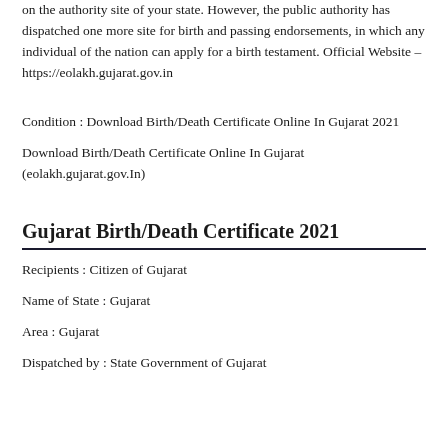on the authority site of your state. However, the public authority has dispatched one more site for birth and passing endorsements, in which any individual of the nation can apply for a birth testament. Official Website – https://eolakh.gujarat.gov.in
Condition : Download Birth/Death Certificate Online In Gujarat 2021
Download Birth/Death Certificate Online In Gujarat (eolakh.gujarat.gov.In)
Gujarat Birth/Death Certificate 2021
Recipients : Citizen of Gujarat
Name of State : Gujarat
Area : Gujarat
Dispatched by : State Government of Gujarat